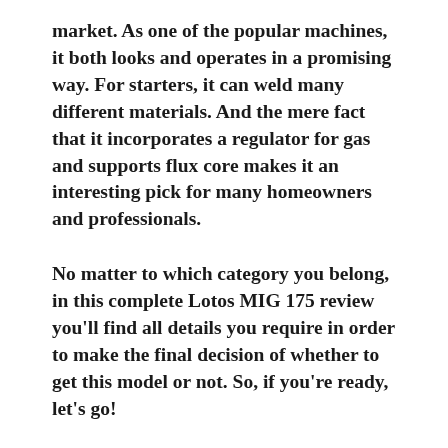market. As one of the popular machines, it both looks and operates in a promising way. For starters, it can weld many different materials. And the mere fact that it incorporates a regulator for gas and supports flux core makes it an interesting pick for many homeowners and professionals.
No matter to which category you belong, in this complete Lotos MIG 175 review you'll find all details you require in order to make the final decision of whether to get this model or not. So, if you're ready, let's go!